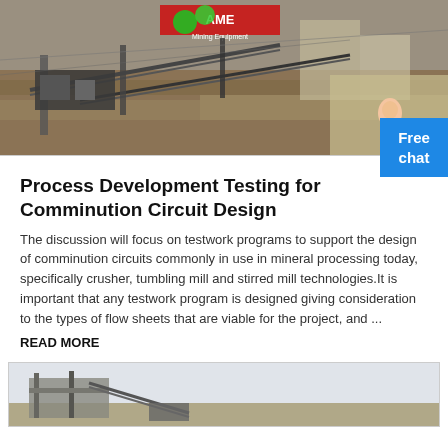[Figure (photo): Aerial view of a mining/comminution plant facility with heavy machinery, conveyor belts, and industrial equipment. Green balloons visible. Red signage in background.]
Process Development Testing for Comminution Circuit Design
The discussion will focus on testwork programs to support the design of comminution circuits commonly in use in mineral processing today, specifically crusher, tumbling mill and stirred mill technologies.It is important that any testwork program is designed giving consideration to the types of flow sheets that are viable for the project, and ...
READ MORE
[Figure (photo): Partial view of mining or industrial equipment, appears to be a crusher or conveyor system, photographed from ground level against an overcast sky.]